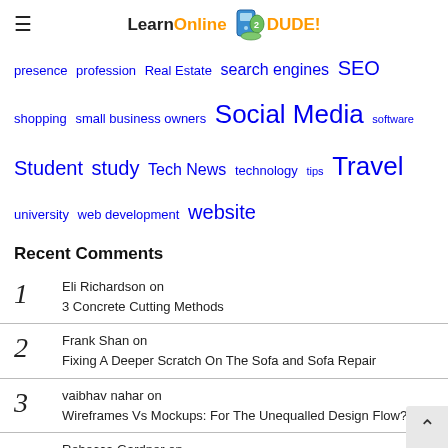LearnOnlineDude! [logo]
presence profession Real Estate search engines SEO shopping small business owners Social Media software Student study Tech News technology tips Travel university web development website
Recent Comments
1 Eli Richardson on 3 Concrete Cutting Methods
2 Frank Shan on Fixing A Deeper Scratch On The Sofa and Sofa Repair
3 vaibhav nahar on Wireframes Vs Mockups: For The Unequalled Design Flow?
4 Rebecca Gardner on 3 Concrete Cutting Methods
5 Rebecca Gardner on [continues]